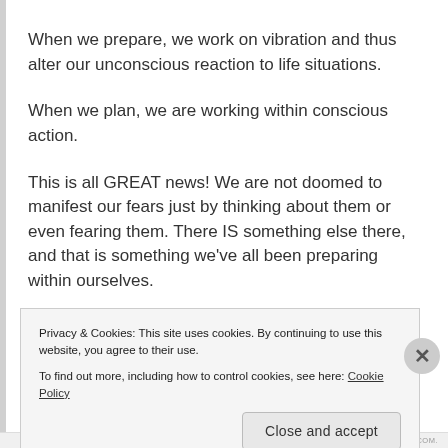When we prepare, we work on vibration and thus alter our unconscious reaction to life situations.
When we plan, we are working within conscious action.
This is all GREAT news!  We are not doomed to manifest our fears just by thinking about them or even fearing them.  There IS something else there, and that is something we've all been preparing within ourselves.
Privacy & Cookies: This site uses cookies. By continuing to use this website, you agree to their use.
To find out more, including how to control cookies, see here: Cookie Policy
Close and accept
BLOG AT WORDPRESS.COM.